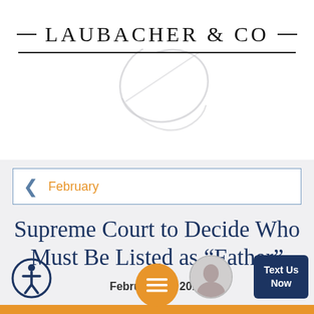[Figure (logo): Laubacher & Co logo with decorative script L and horizontal rules]
February
Supreme Court to Decide Who Must Be Listed as “Father”
February 05, 2015